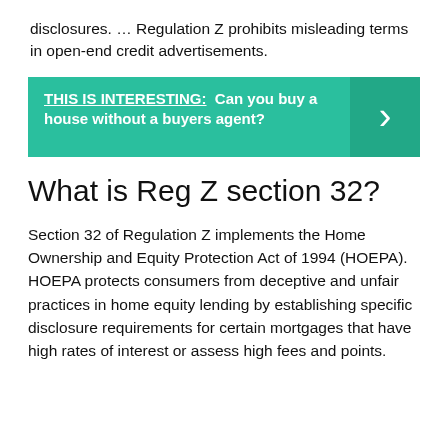disclosures. … Regulation Z prohibits misleading terms in open-end credit advertisements.
[Figure (infographic): Teal banner with 'THIS IS INTERESTING: Can you buy a house without a buyers agent?' and a right-arrow chevron on the right side.]
What is Reg Z section 32?
Section 32 of Regulation Z implements the Home Ownership and Equity Protection Act of 1994 (HOEPA). HOEPA protects consumers from deceptive and unfair practices in home equity lending by establishing specific disclosure requirements for certain mortgages that have high rates of interest or assess high fees and points.